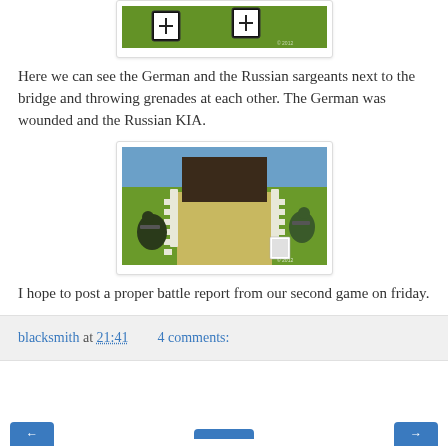[Figure (photo): Top-cropped photo of wargame miniatures on a green mat next to a bridge, with black-framed cards visible on the table]
Here we can see the German and the Russian sargeants next to the bridge and throwing grenades at each other. The German was wounded and the Russian KIA.
[Figure (photo): Wargame miniatures near a bridge model on a green gaming mat, with fencing on both sides and small figurines positioned on each side of the bridge]
I hope to post a proper battle report from our second game on friday.
blacksmith at 21:41    4 comments: